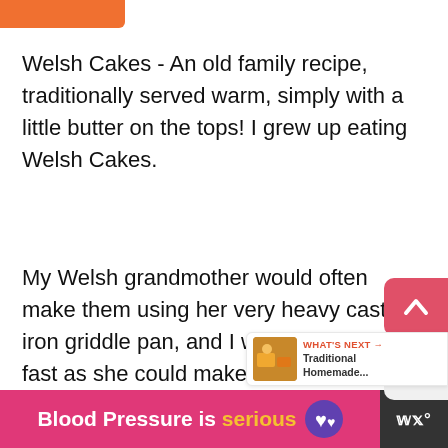[Figure (other): Orange navigation bar at top left corner]
Welsh Cakes - An old family recipe, traditionally served warm, simply with a little butter on the tops! I grew up eating Welsh Cakes.
My Welsh grandmother would often make them using her very heavy cast iron griddle pan, and I would eat them as fast as she could make them, spreading some lovely Welsh butter on the top and enjoying them.
[Figure (other): Scroll-to-top button (pink/red rounded rectangle with up arrow icon)]
[Figure (other): Share button (grey rounded rectangle with share icon)]
[Figure (other): What's Next panel showing thumbnail of Traditional Homemade recipe]
[Figure (other): Blood Pressure is serious advertisement banner at bottom]